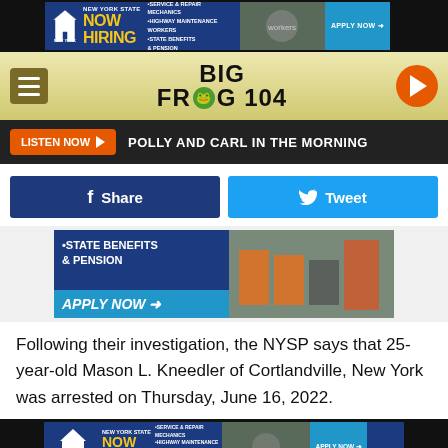[Figure (screenshot): New York State Now Hiring advertisement banner — top]
[Figure (logo): Big Frog 104 radio station logo with hamburger menu and play button]
[Figure (screenshot): Listen Now button with text: POLLY AND CARL IN THE MORNING]
[Figure (screenshot): Facebook Share and Twitter Tweet social buttons]
[Figure (screenshot): New York State Now Hiring advertisement — middle, STATE BENEFITS & PENSION, APPLY NOW]
Following their investigation, the NYSP says that 25-year-old Mason L. Kneedler of Cortlandville, New York was arrested on Thursday, June 16, 2022.
[Figure (screenshot): New York State Now Hiring advertisement banner — bottom]